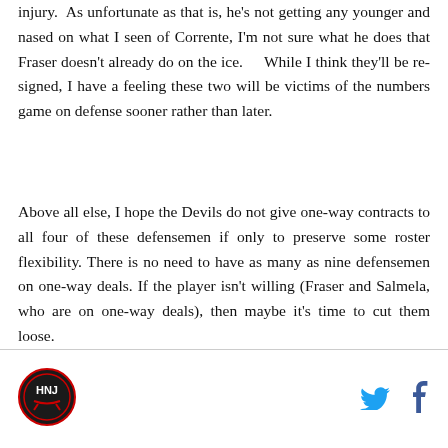injury.  As unfortunate as that is, he's not getting any younger and nased on what I seen of Corrente, I'm not sure what he does that Fraser doesn't already do on the ice.    While I think they'll be re-signed, I have a feeling these two will be victims of the numbers game on defense sooner rather than later.
Above all else, I hope the Devils do not give one-way contracts to all four of these defensemen if only to preserve some roster flexibility. There is no need to have as many as nine defensemen on one-way deals. If the player isn't willing (Fraser and Salmela, who are on one-way deals), then maybe it's time to cut them loose.
[Figure (logo): Hockey NJ circular logo with NJ letters and hockey sticks design]